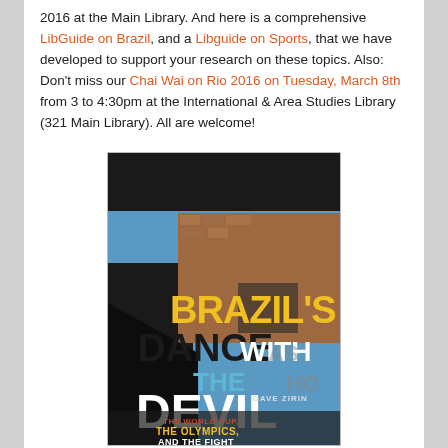2016 at the Main Library. And here is a comprehensive LibGuide on Brazil, and a Libguide on Sports, that we have developed to support your research on these topics. Also: Don't miss our Chai Wai on Rio 2016 on Tuesday, March 8th from 3 to 4:30pm at the International & Area Studies Library (321 Main Library). All are welcome!
[Figure (photo): Book cover of 'Brazil's Dance with the Devil' by Dave Zirin. Yellow and black text on a dark urban background showing a favela scene. Subtitle: The World Cup, The Olympics, and The Fight...]